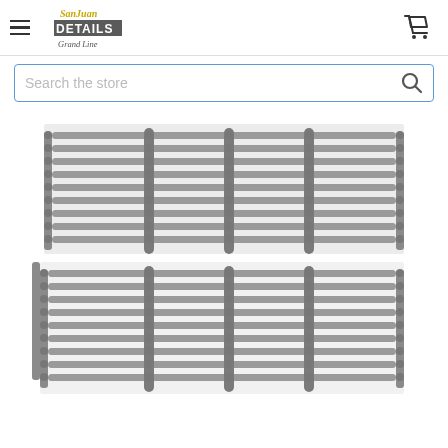San Juan Details - Grand Line | Navigation menu and cart
Search the store
[Figure (photo): Two metal grill grate panels with parallel horizontal rods connected by vertical crossbars, shown side by side, in gray/silver metal finish. The grates appear to be model train scale or hobby detail parts.]